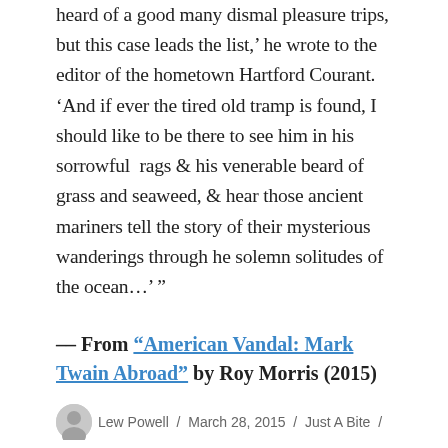heard of a good many dismal pleasure trips, but this case leads the list,' he wrote to the editor of the hometown Hartford Courant. 'And if ever the tired old tramp is found, I should like to be there to see him in his sorrowful rags & his venerable beard of grass and seaweed, & hear those ancient mariners tell the story of their mysterious wanderings through he solemn solitudes of the ocean….' ”
– – From “American Vandal: Mark Twain Abroad” by Roy Morris (2015)
Lew Powell / March 28, 2015 / Just A Bite /